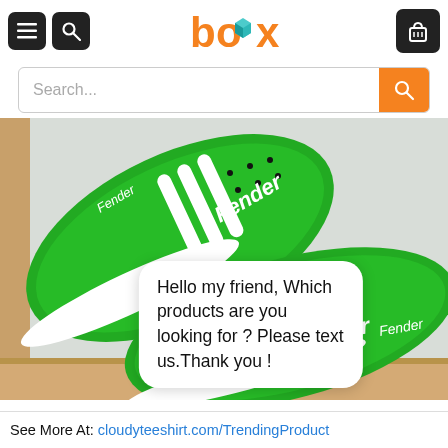box - navigation header with menu, search, and cart icons
[Figure (screenshot): Search bar with orange search button]
[Figure (photo): Green Fender-branded sneakers (Adidas-style) with white stripes in a cardboard box]
Hello my friend, Which products are you looking for ? Please text us.Thank you !
See More At: cloudyteeshirt.com/TrendingProduct